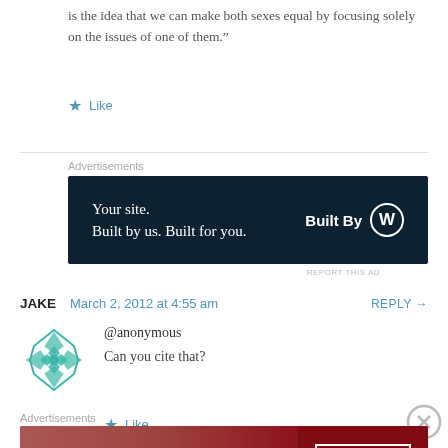is the idea that we can make both sexes equal by focusing solely on the issues of one of them.”
★ Like
[Figure (infographic): WordPress advertisement banner: dark navy background, text 'Your site. Built by us. Built for you.' on left, 'Built By' with WordPress logo circle on right.]
REPORT THIS AD
JAKE  March 2, 2012 at 4:55 am  REPLY →
[Figure (illustration): Teal geometric snowflake/flower avatar icon for user Jake]
@anonymous
Can you cite that?
★ Like
[Figure (infographic): Macy's advertisement banner: dark red background with woman's face, text 'KISS BORING LIPS GOODBYE', 'SHOP NOW' button, Macy's star logo]